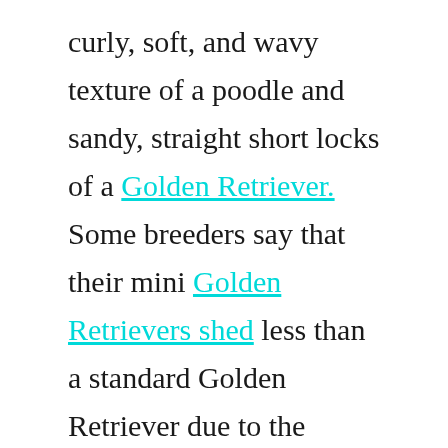curly, soft, and wavy texture of a poodle and sandy, straight short locks of a Golden Retriever. Some breeders say that their mini Golden Retrievers shed less than a standard Golden Retriever due to the poodle genetics.
Since standard Golden Retrievers are known to be heavy shedders, this is one of the major benefits of getting a mini Golden Retriever. However, it isn't possible to predict how much less a particular Golden Retriever will shed as